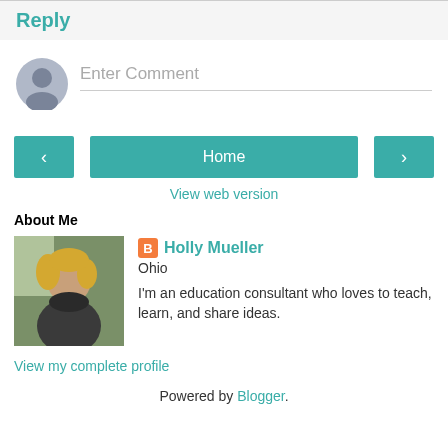Reply
Enter Comment
Home
View web version
About Me
[Figure (photo): Profile photo of Holly Mueller, a woman with curly blonde hair seated indoors]
Holly Mueller
Ohio
I'm an education consultant who loves to teach, learn, and share ideas.
View my complete profile
Powered by Blogger.